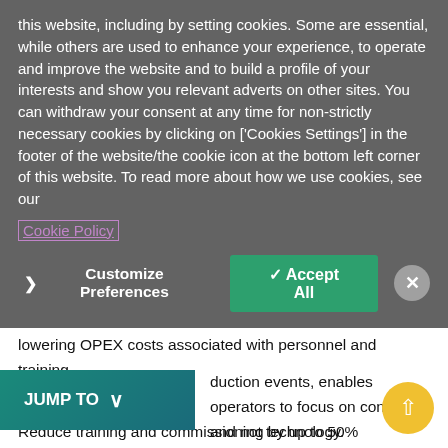this website, including by setting cookies. Some are essential, while others are used to enhance your experience, to operate and improve the website and to build a profile of your interests and show you relevant adverts on other sites. You can withdraw your consent at any time for non-strictly necessary cookies by clicking on ['Cookies Settings'] in the footer of the website/the cookie icon at the bottom left corner of this website. To read more about how we use cookies, see our Cookie Policy
[Figure (screenshot): Cookie consent banner with Customize Preferences button, Accept All green button, and X close button]
create tighter, cleaner, more compelling live content, while lowering OPEX costs associated with personnel and training.
Reduces complexity associated with building and production events, enables operators to focus on content and not technology.
[Figure (screenshot): JUMP TO dropdown button in teal/dark green color]
Reduce training and commissioning by up to 50% saving time and money.
Intuitive Ignite v11 Event Builder platform, when combined